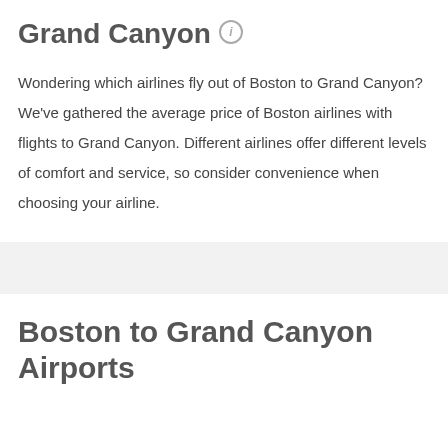Grand Canyon ℹ
Wondering which airlines fly out of Boston to Grand Canyon? We've gathered the average price of Boston airlines with flights to Grand Canyon. Different airlines offer different levels of comfort and service, so consider convenience when choosing your airline.
Boston to Grand Canyon Airports